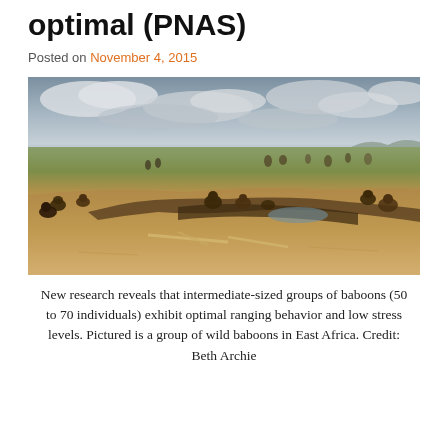optimal (PNAS)
Posted on November 4, 2015
[Figure (photo): A wide landscape photo of a group of wild baboons gathered near a dry riverbed or watering hole on an open East African savanna, with cloudy skies and distant zebras/animals visible in the background.]
New research reveals that intermediate-sized groups of baboons (50 to 70 individuals) exhibit optimal ranging behavior and low stress levels. Pictured is a group of wild baboons in East Africa. Credit: Beth Archie